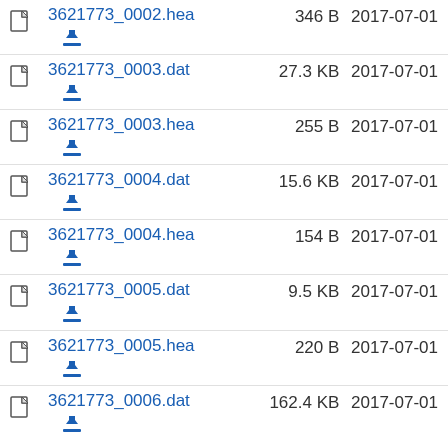3621773_0002.hea  346 B  2017-07-01
3621773_0003.dat  27.3 KB  2017-07-01
3621773_0003.hea  255 B  2017-07-01
3621773_0004.dat  15.6 KB  2017-07-01
3621773_0004.hea  154 B  2017-07-01
3621773_0005.dat  9.5 KB  2017-07-01
3621773_0005.hea  220 B  2017-07-01
3621773_0006.dat  162.4 KB  2017-07-01